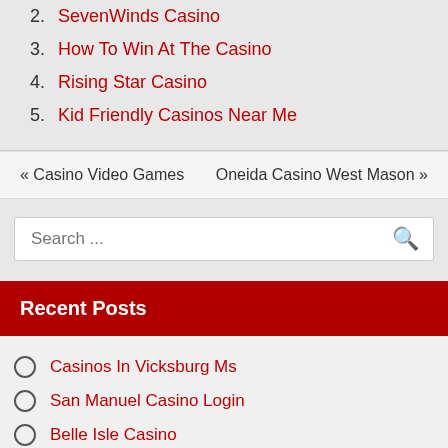2. SevenWinds Casino
3. How To Win At The Casino
4. Rising Star Casino
5. Kid Friendly Casinos Near Me
« Casino Video Games    Oneida Casino West Mason »
Search ...
Recent Posts
Casinos In Vicksburg Ms
San Manuel Casino Login
Belle Isle Casino
Casino Poker Table